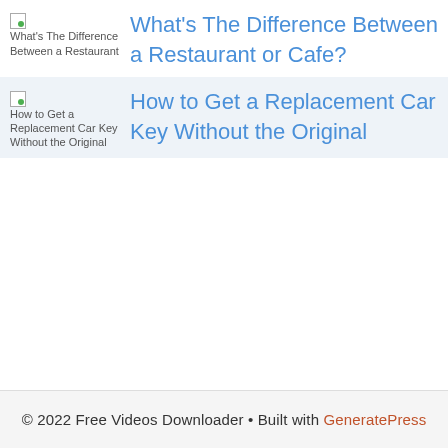What's The Difference Between a Restaurant or Cafe?
How to Get a Replacement Car Key Without the Original
© 2022 Free Videos Downloader • Built with GeneratePress